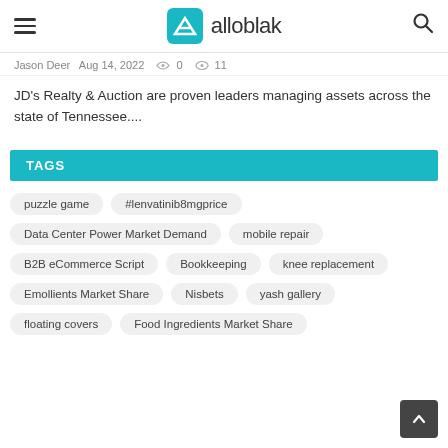alloblak
Jason Deer  Aug 14, 2022  0  11
JD's Realty & Auction are proven leaders managing assets across the state of Tennessee....
TAGS
puzzle game
#lenvatinib8mgprice
Data Center Power Market Demand
mobile repair
B2B eCommerce Script
Bookkeeping
knee replacement
Emollients Market Share
Nisbets
yash gallery
floating covers
Food Ingredients Market Share